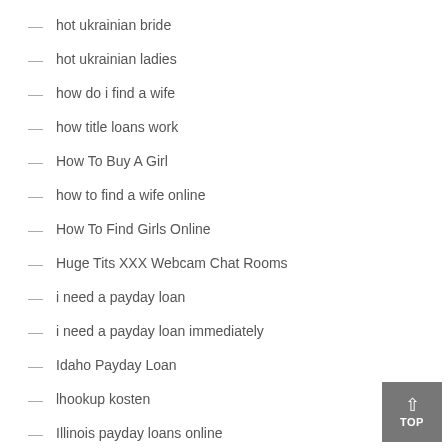hot ukrainian bride
hot ukrainian ladies
how do i find a wife
how title loans work
How To Buy A Girl
how to find a wife online
How To Find Girls Online
Huge Tits XXX Webcam Chat Rooms
i need a payday loan
i need a payday loan immediately
Idaho Payday Loan
lhookup kosten
Illinois payday loans online
iLove review
imeetzu reviews
indiana Installment loans online no credit check instant